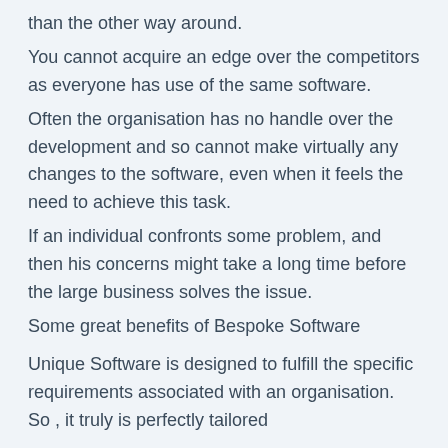than the other way around.
You cannot acquire an edge over the competitors as everyone has use of the same software.
Often the organisation has no handle over the development and so cannot make virtually any changes to the software, even when it feels the need to achieve this task.
If an individual confronts some problem, and then his concerns might take a long time before the large business solves the issue.
Some great benefits of Bespoke Software
Unique Software is designed to fulfill the specific requirements associated with an organisation. So , it truly is perfectly tailored